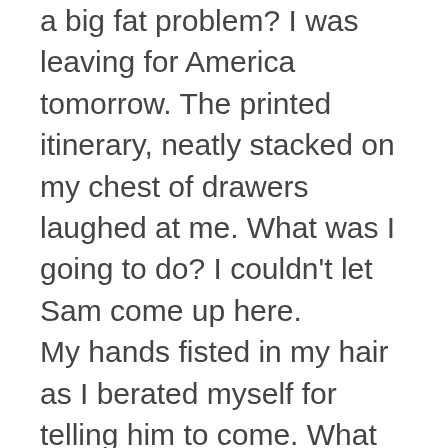a big fat problem? I was leaving for America tomorrow. The printed itinerary, neatly stacked on my chest of drawers laughed at me. What was I going to do? I couldn't let Sam come up here. My hands fisted in my hair as I berated myself for telling him to come. What was I thinking? I wasn't some sexual nymph, skilled in the way Sam surely was. I wasn't a virgin, but I hadn't actually messed around with a bunch of guys.